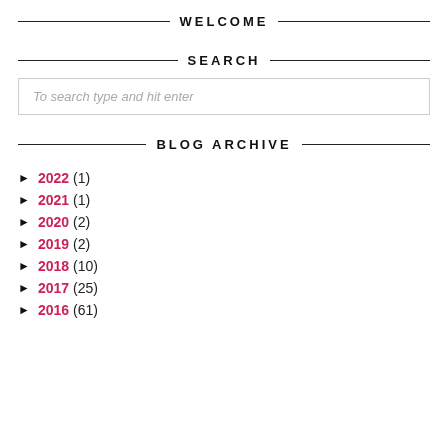WELCOME
SEARCH
To search type and hit enter
BLOG ARCHIVE
► 2022 (1)
► 2021 (1)
► 2020 (2)
► 2019 (2)
► 2018 (10)
► 2017 (25)
► 2016 (61)